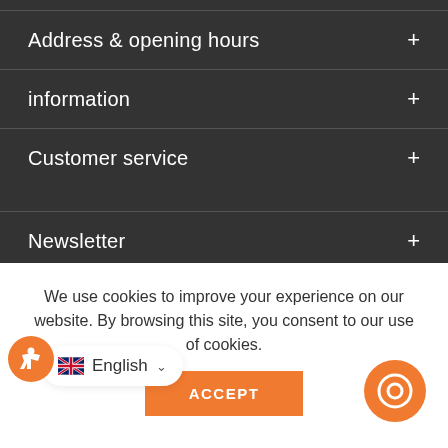Address & opening hours
information
Customer service
Newsletter
We use cookies to improve your experience on our website. By browsing this site, you consent to our use of cookies.
ACCEPT
English